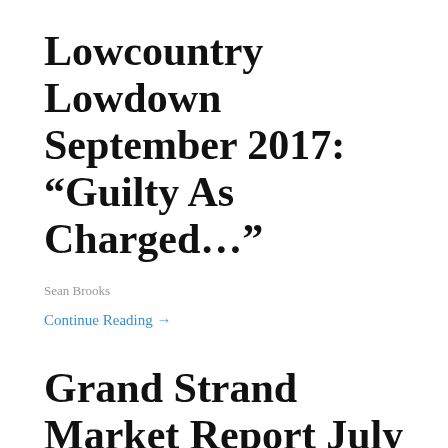Lowcountry Lowdown September 2017: “Guilty As Charged…”
Sean Brooks
Continue Reading →
Grand Strand Market Report July 2017
Sean Brooks
July 2017 Market Report The Grand Strand’s July market statistics are finally in, but before we discuss, were you able to get a glimpse of the eclipse Monday?! Most of the Grand Strand are just out of the line of full totality, so I decided to